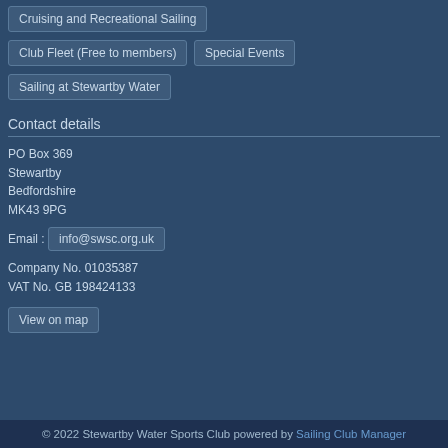Cruising and Recreational Sailing
Club Fleet (Free to members)
Special Events
Sailing at Stewartby Water
Contact details
PO Box 369
Stewartby
Bedfordshire
MK43 9PG
Email : info@swsc.org.uk
Company No. 01035387
VAT No. GB 198424133
View on map
© 2022 Stewartby Water Sports Club powered by Sailing Club Manager